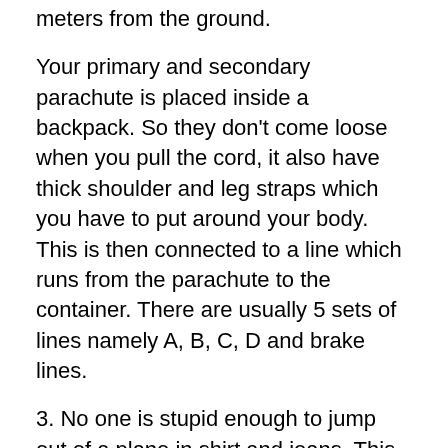meters from the ground.
Your primary and secondary parachute is placed inside a backpack. So they don't come loose when you pull the cord, it also have thick shoulder and leg straps which you have to put around your body. This is then connected to a line which runs from the parachute to the container. There are usually 5 sets of lines namely A, B, C, D and brake lines.
3. No one is stupid enough to jump out of a plane in shirt and jeans. This is why you must always skydive with a jumpsuit. This is designed to protect you the moment you jump off the plane because of the strong winds and other forces of nature which could tear your clothes.
The jumpsuit also gives your protection especially when you are landing. A lot of people do not land